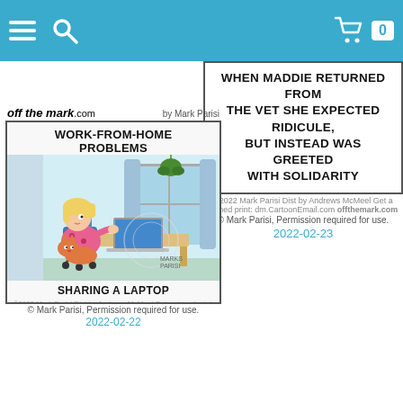Navigation bar with hamburger menu, search icon, cart icon with badge 0
[Figure (illustration): Off the Mark comic strip (top right, partially cropped): text panel reading 'WHEN MADDIE RETURNED FROM THE VET SHE EXPECTED RIDICULE, BUT INSTEAD WAS GREETED WITH SOLIDARITY' with small credit line and offthemark.com]
© Mark Parisi, Permission required for use.
2022-02-23
[Figure (illustration): Off the Mark comic strip by Mark Parisi: titled 'WORK-FROM-HOME PROBLEMS', showing a woman sitting at a desk with a laptop, a cat/dog on her lap, a hanging plant in the background, captioned 'SHARING A LAPTOP']
© Mark Parisi, Permission required for use.
2022-02-22